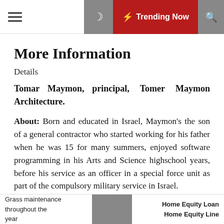Trending Now
More Information
Details
Tomar Maymon, principal, Tomer Maymon Architecture.
About: Born and educated in Israel, Maymon's the son of a general contractor who started working for his father when he was 15 for many summers, enjoyed software programming in his Arts and Science highschool years, before his service as an officer in a special force unit as part of the compulsory military service in Israel.
Tomar always felt a draw toward architecture. He
Grass maintenance throughout the year | Home Equity Loan Home Equity Line